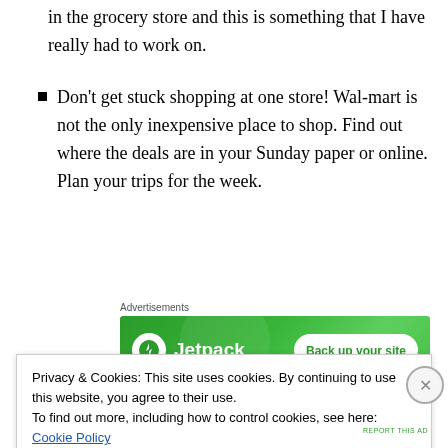in the grocery store and this is something that I have really had to work on.
Don't get stuck shopping at one store! Wal-mart is not the only inexpensive place to shop. Find out where the deals are in your Sunday paper or online. Plan your trips for the week.
[Figure (other): Jetpack advertisement banner with green background. Logo: white circle with lightning bolt icon, text 'Jetpack'. Button: 'Back up your site']
Now, you know what to do to eat healthy and still have
Privacy & Cookies: This site uses cookies. By continuing to use this website, you agree to their use.
To find out more, including how to control cookies, see here: Cookie Policy